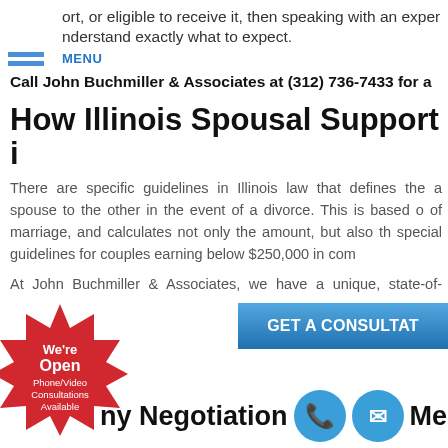MENU
ort, or eligible to receive it, then speaking with an exper nderstand exactly what to expect.
Call John Buchmiller & Associates at (312) 736-7433 for a
How Illinois Spousal Support i
There are specific guidelines in Illinois law that defines the a spouse to the other in the event of a divorce. This is based o of marriage, and calculates not only the amount, but also th special guidelines for couples earning below $250,000 in com
At John Buchmiller & Associates, we have a unique, state-of- obligation/payment. Utilizing this type of software, we can ac what you can expect to receive, in spousal support.
[Figure (infographic): Red starburst badge with text: We're Open, Phone/Video Consultations Available]
GET A CONSULTAT
ny Negotiation d Medi